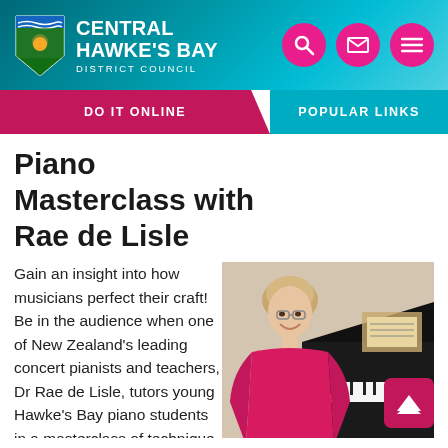Central Hawke's Bay District Council
Piano Masterclass with Rae de Lisle
[Figure (photo): Woman in pink top smiling at a grand piano, sheet music visible in background]
Gain an insight into how musicians perfect their craft! Be in the audience when one of New Zealand's leading concert pianists and teachers, Dr Rae de Lisle, tutors young Hawke's Bay piano students in a masterclass of technique and musicianship. Students will select their music to perfect and Rae...